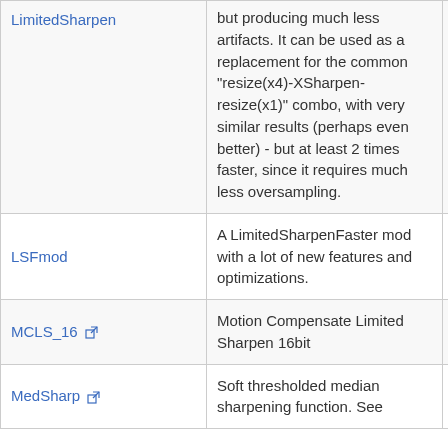| Name | Description | Version |
| --- | --- | --- |
| LimitedSharpen | but producing much less artifacts. It can be used as a replacement for the common "resize(x4)-XSharpen-resize(x1)" combo, with very similar results (perhaps even better) - but at least 2 times faster, since it requires much less oversampling. | YV12 |
| LSFmod | A LimitedSharpenFaster mod with a lot of new features and optimizations. | YV12 |
| MCLS_16 | Motion Compensate Limited Sharpen 16bit | YV12 |
| MedSharp | Soft thresholded median sharpening function. See | YV12 |